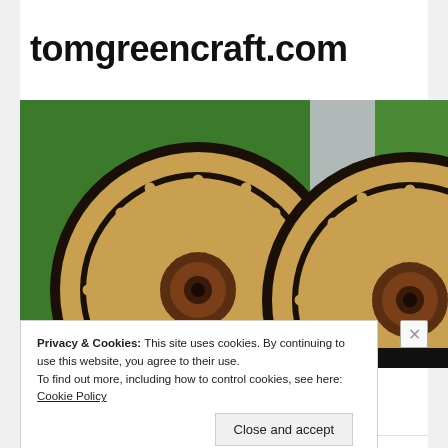tomgreencraft.com
[Figure (photo): Two large wooden wagon wheels with spokes, set against a green leafy background with a concrete pillar visible between them.]
Privacy & Cookies: This site uses cookies. By continuing to use this website, you agree to their use.
To find out more, including how to control cookies, see here: Cookie Policy
Close and accept